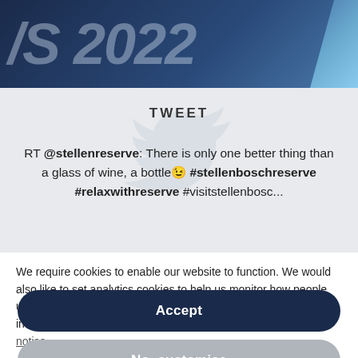[Figure (screenshot): Dark blue banner with large italic text '/S 2022' partially visible, with a lighter blue diagonal stripe on the right edge]
TWEET
RT @stellenreserve: There is only one better thing than a glass of wine, a bottle 😉 #stellenboschreserve #relaxwithreserve #visitstellenbosc...
We require cookies to enable our website to function. We would also like to set analytics cookies to help us monitor how people use our website so that we can continue to improve it. For more information on the technology we use please visit our privacy notice.
Accept
No, customise